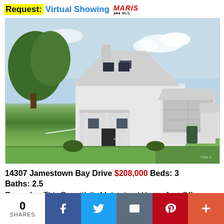Request: Virtual Showing MARIS MLS
[Figure (photo): Exterior photo of a two-story white colonial-style home with attached two-car garage, covered front porch, green lawn, and trees in background]
14307 Jamestown Bay Drive $208,000 Beds: 3 Baths: 2.5
Remarks: This Beautifully Maintained Home Just Off
0 SHARES